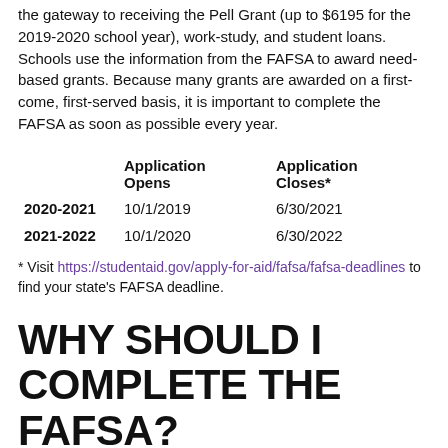the gateway to receiving the Pell Grant (up to $6195 for the 2019-2020 school year), work-study, and student loans. Schools use the information from the FAFSA to award need-based grants. Because many grants are awarded on a first-come, first-served basis, it is important to complete the FAFSA as soon as possible every year.
|  | Application Opens | Application Closes* |
| --- | --- | --- |
| 2020-2021 | 10/1/2019 | 6/30/2021 |
| 2021-2022 | 10/1/2020 | 6/30/2022 |
* Visit https://studentaid.gov/apply-for-aid/fafsa/fafsa-deadlines to find your state's FAFSA deadline.
WHY SHOULD I COMPLETE THE FAFSA?
All of your financial aid, including ETV, the Pell